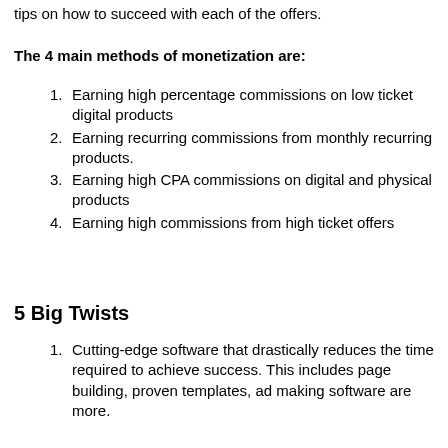tips on how to succeed with each of the offers.
The 4 main methods of monetization are:
Earning high percentage commissions on low ticket digital products
Earning recurring commissions from monthly recurring products.
Earning high CPA commissions on digital and physical products
Earning high commissions from high ticket offers
5 Big Twists
Cutting-edge software that drastically reduces the time required to achieve success. This includes page building, proven templates, ad making software are more.